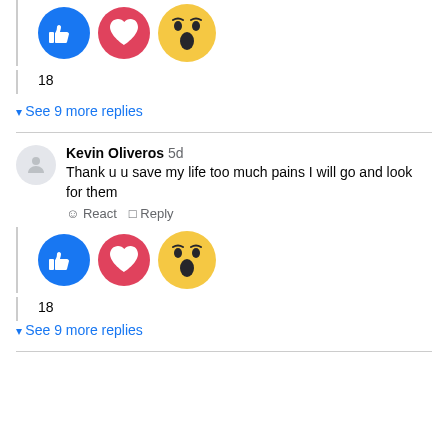[Figure (screenshot): Facebook reaction emojis: thumbs up (blue), heart (pink/red), and wow face (yellow) displayed in a row]
18
See 9 more replies
Kevin Oliveros 5d
Thank u u save my life too much pains I will go and look for them
React   Reply
[Figure (screenshot): Facebook reaction emojis: thumbs up (blue), heart (pink/red), and wow face (yellow) displayed in a row]
18
See 9 more replies